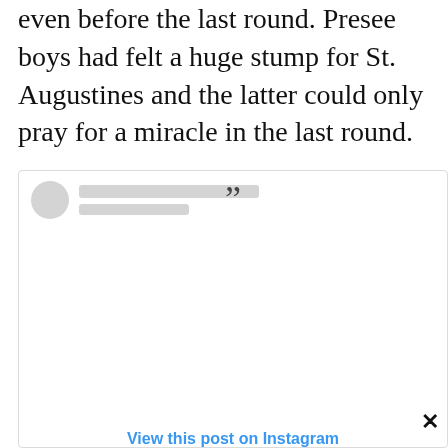even before the last round. Presee boys had felt a huge stump for St. Augustines and the latter could only pray for a miracle in the last round.
[Figure (screenshot): Instagram embed widget showing a quote mark icon, a placeholder avatar with two grey lines for username/handle, the Instagram logo icon, and a 'View this post on Instagram' blue link, with an X close button at bottom right.]